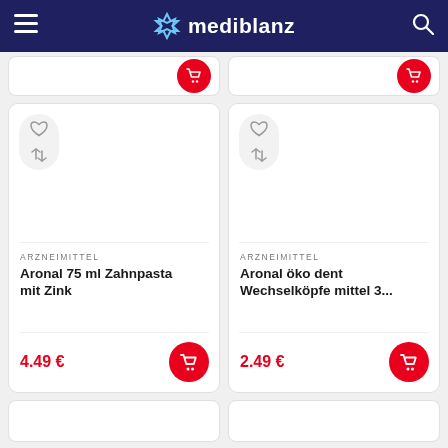mediblanz
[Figure (screenshot): Product card for Aronal 75 ml Zahnpasta mit Zink, price 4.49 EUR, with wishlist and compare icons, red cart button]
[Figure (screenshot): Product card for Aronal öko dent Wechselköpfe mittel 3..., price 2.49 EUR, with wishlist and compare icons, red cart button]